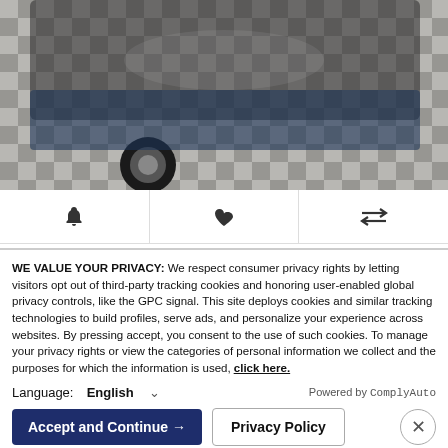[Figure (photo): Partial view of a car (wheel and underside visible) parked on a checkered tile floor in a dealership]
[Figure (infographic): Icon bar with bell (alert), heart (favorite), and compare arrows icons]
2021 Ford EcoSport SE
Stock: P456697
MSRP: $25,205
You Save: $960
Up Front® Price: $24,245
WE VALUE YOUR PRIVACY: We respect consumer privacy rights by letting visitors opt out of third-party tracking cookies and honoring user-enabled global privacy controls, like the GPC signal. This site deploys cookies and similar tracking technologies to build profiles, serve ads, and personalize your experience across websites. By pressing accept, you consent to the use of such cookies. To manage your privacy rights or view the categories of personal information we collect and the purposes for which the information is used, click here.
Language: English
Powered by ComplyAuto
Accept and Continue →
Privacy Policy